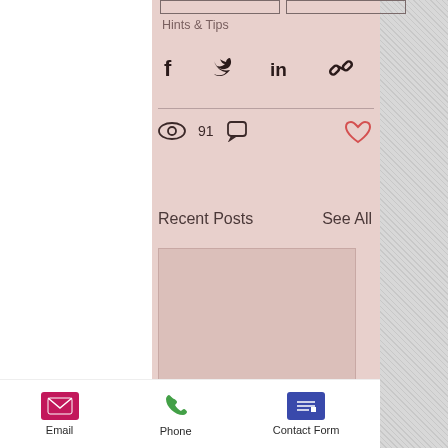Hints & Tips
[Figure (infographic): Social share icons: Facebook, Twitter, LinkedIn, link/chain icon]
91 views, 0 comments, like (heart) button
Recent Posts
See All
[Figure (other): A pink/blush colored empty post card placeholder]
Email   Phone   Contact Form